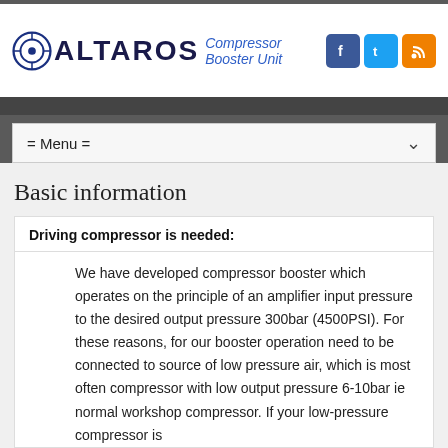[Figure (logo): Altaros Compressor Booster Unit logo with circular target icon and blue text]
[Figure (infographic): Social media icons: Facebook, Twitter, RSS feed]
= Menu =
Basic information
Driving compressor is needed:
We have developed compressor booster which operates on the principle of an amplifier input pressure to the desired output pressure 300bar (4500PSI). For these reasons, for our booster operation need to be connected to source of low pressure air, which is most often compressor with low output pressure 6-10bar ie normal workshop compressor. If your low-pressure compressor is